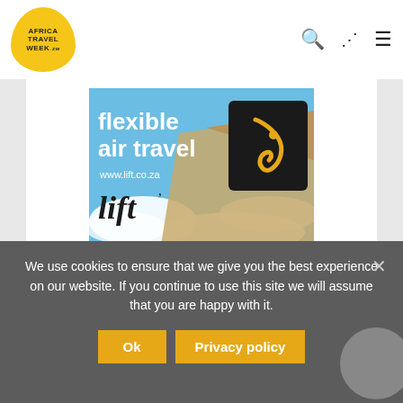[Figure (logo): Africa Travel Week logo in yellow rounded shape with text]
[Figure (photo): Lift airline advertisement showing airplane tail with 'flexible air travel' text and www.lift.co.za website]
Categories
#INTHEKNOW
#UnlockAfrica
We use cookies to ensure that we give you the best experience on our website. If you continue to use this site we will assume that you are happy with it.
Ok
Privacy policy